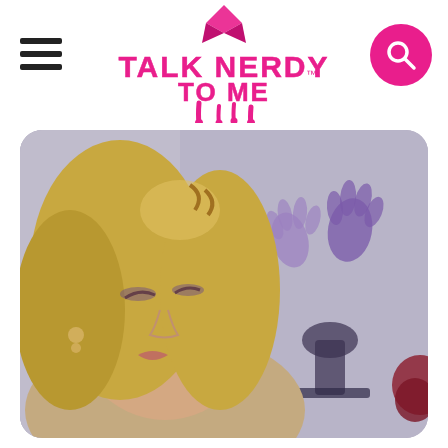Talk Nerdy To Me — website header with hamburger menu, logo, and search button
[Figure (photo): A blonde woman with eyes downcast, wearing a champagne-colored blouse with a bow, in an indoor setting. In the blurred background there are purple handprint decorations on a wall and dark silhouetted furniture.]